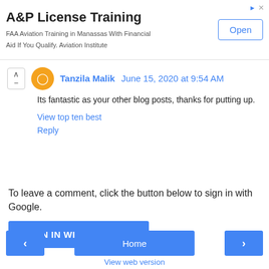[Figure (screenshot): Advertisement banner for A&P License Training with Open button]
A&P License Training
FAA Aviation Training in Manassas With Financial Aid If You Qualify. Aviation Institute
Tanzila Malik  June 15, 2020 at 9:54 AM
Its fantastic as your other blog posts, thanks for putting up.
View top ten best
Reply
To leave a comment, click the button below to sign in with Google.
SIGN IN WITH GOOGLE
Home
View web version